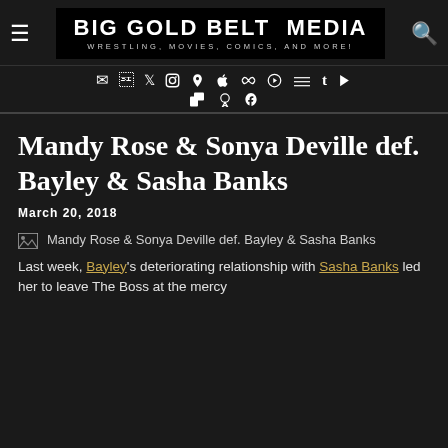Big Gold Belt Media — Wrestling, Movies, Comics, and More!
[Figure (logo): Big Gold Belt Media logo — black background with bold white text and subtitle 'WRESTLING, MOVIES, COMICS, AND MORE!']
[Figure (infographic): Social media icon bar with icons for email, Facebook, Twitter, Instagram, and other platforms including Twitch, Patreon, PayPal]
Mandy Rose & Sonya Deville def. Bayley & Sasha Banks
March 20, 2018
[Figure (photo): Broken image placeholder: Mandy Rose & Sonya Deville def. Bayley & Sasha Banks]
Last week, Bayley's deteriorating relationship with Sasha Banks led her to leave The Boss at the mercy